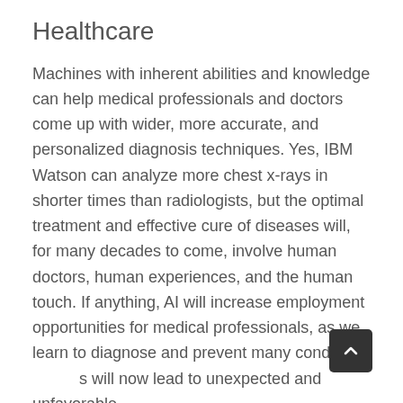Healthcare
Machines with inherent abilities and knowledge can help medical professionals and doctors come up with wider, more accurate, and personalized diagnosis techniques. Yes, IBM Watson can analyze more chest x-rays in shorter times than radiologists, but the optimal treatment and effective cure of diseases will, for many decades to come, involve human doctors, human experiences, and the human touch. If anything, AI will increase employment opportunities for medical professionals, as we learn to diagnose and prevent many conditions will now lead to unexpected and unfavorable